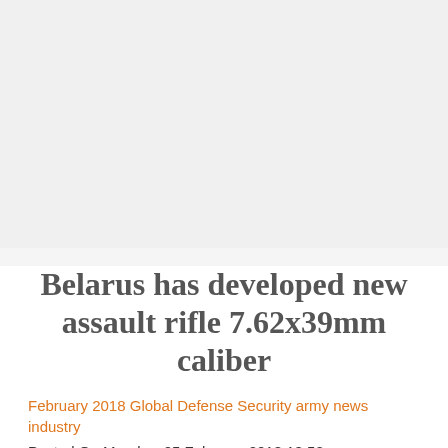[Figure (photo): Large image area (photograph/illustration), content not visible in this crop — shown as light gray background]
Belarus has developed new assault rifle 7.62x39mm caliber
February 2018 Global Defense Security army news industry
Posted On Monday, 05 February 2018 18:52